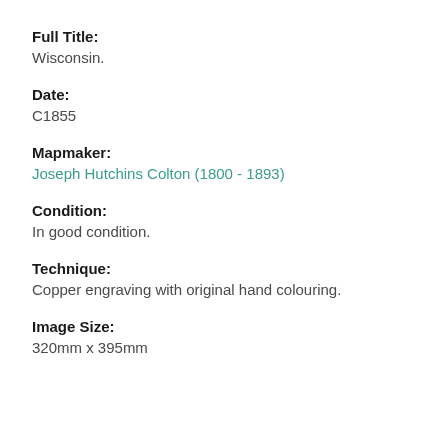Full Title:
Wisconsin.
Date:
C1855
Mapmaker:
Joseph Hutchins Colton (1800 - 1893)
Condition:
In good condition.
Technique:
Copper engraving with original hand colouring.
Image Size:
320mm x 395mm